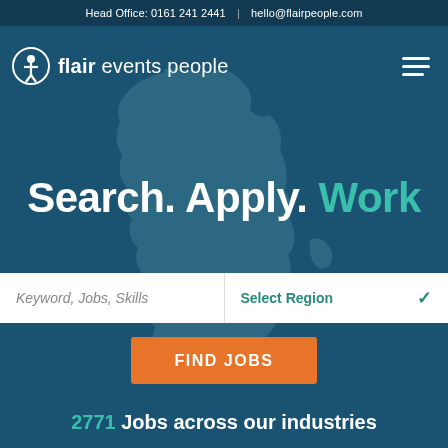Head Office: 0161 241 2441  |  hello@flairpeople.com
[Figure (logo): Flair events people logo: circular icon with figure, followed by text 'flair events people']
Search. Apply. Work
Keyword, Jobs, Skills
Select Region
FIND JOBS
2771 Jobs across our industries